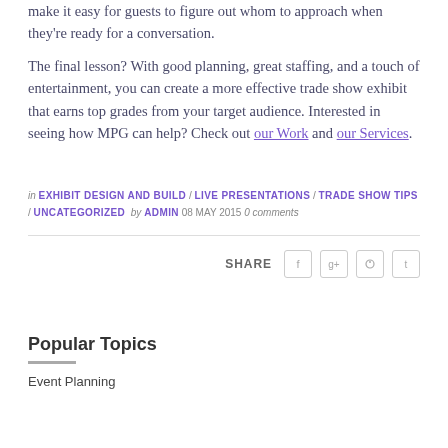make it easy for guests to figure out whom to approach when they're ready for a conversation.
The final lesson? With good planning, great staffing, and a touch of entertainment, you can create a more effective trade show exhibit that earns top grades from your target audience. Interested in seeing how MPG can help? Check out our Work and our Services.
in EXHIBIT DESIGN AND BUILD / LIVE PRESENTATIONS / TRADE SHOW TIPS / UNCATEGORIZED by ADMIN 08 MAY 2015 0 comments
SHARE
Popular Topics
Event Planning